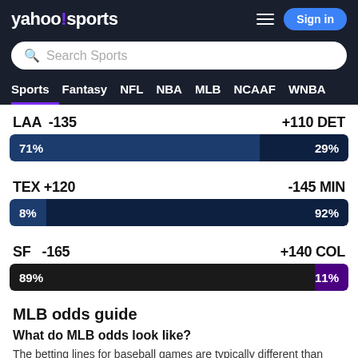yahoo!sports — Sign in — Search Sports — Sports Fantasy NFL NBA MLB NCAAF WNBA
LAA -135   +110 DET
71%   29%
TEX +120   -145 MIN
8%   92%
SF -165   +140 COL
89%   11%
MLB odds guide
What do MLB odds look like?
The betting lines for baseball games are typically different than